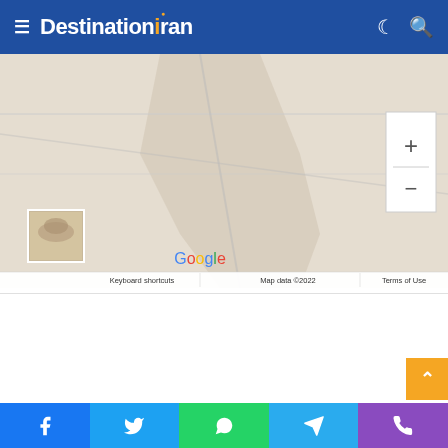DestinationIran - navigation header with hamburger menu, logo, dark mode toggle, and search icon
[Figure (map): Google Maps embed showing a geographic area with roads and terrain in beige/grey tones. Includes zoom in/out controls on the right, a small thumbnail image of a historical site in the bottom left, and Google branding with 'Keyboard shortcuts', 'Map data ©2022', and 'Terms of Use' at the bottom.]
[Figure (other): White content section below the map, mostly empty white space with a scroll-to-top orange button on the right.]
[Figure (other): Social sharing bar with Facebook, Twitter, WhatsApp, Telegram, and Phone buttons in corresponding brand colors.]